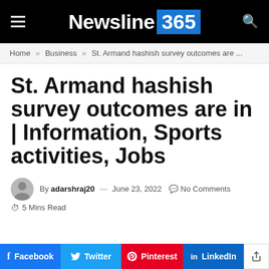Newsline 365
Home » Business » St. Armand hashish survey outcomes are ...
St. Armand hashish survey outcomes are in | Information, Sports activities, Jobs
By adarshraj20 — June 23, 2022  No Comments  5 Mins Read